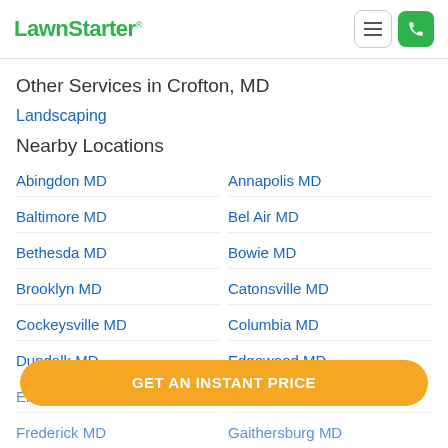LawnStarter
Other Services in Crofton, MD
Landscaping
Nearby Locations
Abingdon MD
Annapolis MD
Baltimore MD
Bel Air MD
Bethesda MD
Bowie MD
Brooklyn MD
Catonsville MD
Cockeysville MD
Columbia MD
Dundalk MD
Edgewood MD
Elkridge MD
Ellicott City MD
Frederick MD
Gaithersburg MD